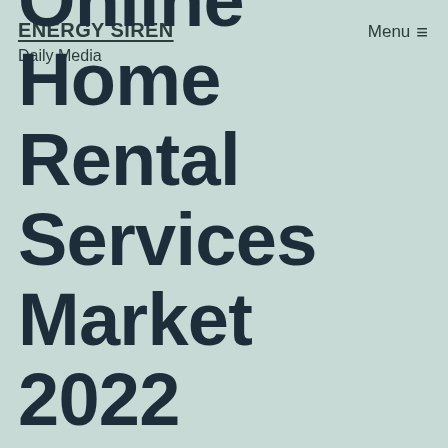ENERGY SIREN
Daily Media
Menu ≡
Online Home Rental Services Market 2022